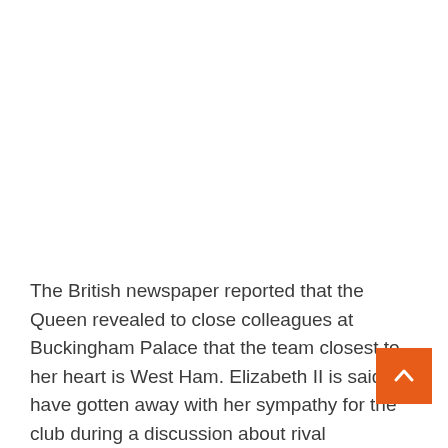The British newspaper reported that the Queen revealed to close colleagues at Buckingham Palace that the team closest to her heart is West Ham. Elizabeth II is said to have gotten away with her sympathy for the club during a discussion about rival